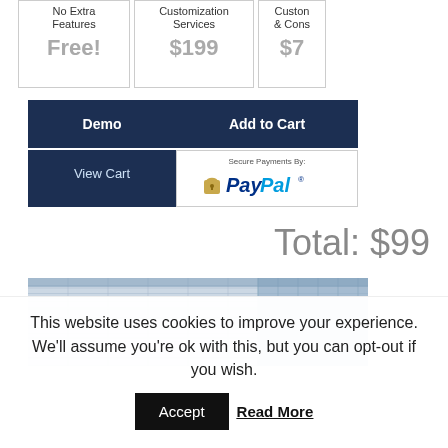| No Extra Features | Customization Services | Custon & Cons |
| --- | --- | --- |
| Free! | $199 | $7 |
Demo | Add to Cart
View Cart
[Figure (logo): PayPal secure payments badge with padlock icon and PayPal logo]
Total: $99
[Figure (screenshot): Screenshot of a spreadsheet or data table with blue column headers]
This website uses cookies to improve your experience. We'll assume you're ok with this, but you can opt-out if you wish.
Accept   Read More